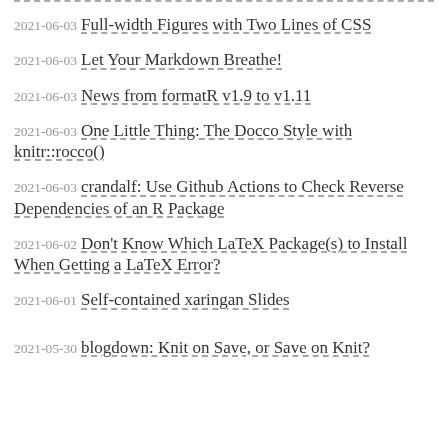2021-06-03 Full-width Figures with Two Lines of CSS
2021-06-03 Let Your Markdown Breathe!
2021-06-03 News from formatR v1.9 to v1.11
2021-06-03 One Little Thing: The Docco Style with knitr::rocco()
2021-06-03 crandalf: Use Github Actions to Check Reverse Dependencies of an R Package
2021-06-02 Don't Know Which LaTeX Package(s) to Install When Getting a LaTeX Error?
2021-06-01 Self-contained xaringan Slides
2021-05-30 blogdown: Knit on Save, or Save on Knit?